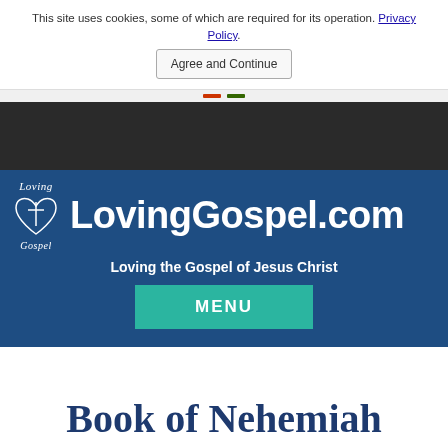This site uses cookies, some of which are required for its operation. Privacy Policy.
Agree and Continue
[Figure (logo): LovingGospel.com logo with heart and cross icon, text 'Loving' above and 'Gospel' below]
LovingGospel.com
Loving the Gospel of Jesus Christ
MENU
Book of Nehemiah